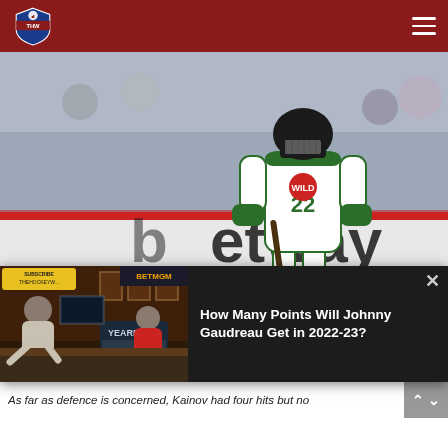THW - The Hockey Writers
[Figure (photo): Minnesota Wild hockey player in white jersey with green and red details, number 22, skating on ice rink with 'betway' advertising board in background and fans in stands]
[Figure (screenshot): Video popup overlay showing two men in a studio with BETMGM branding, titled 'How Many Points Will Johnny Gaudreau Get in 2022-23?']
As far as defence is concerned, Kainov had four hits but no